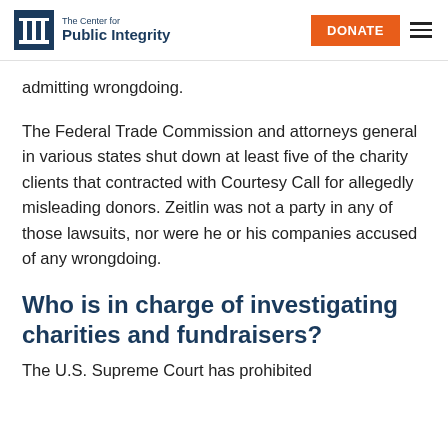The Center for Public Integrity | DONATE
admitting wrongdoing.
The Federal Trade Commission and attorneys general in various states shut down at least five of the charity clients that contracted with Courtesy Call for allegedly misleading donors. Zeitlin was not a party in any of those lawsuits, nor were he or his companies accused of any wrongdoing.
Who is in charge of investigating charities and fundraisers?
The U.S. Supreme Court has prohibited